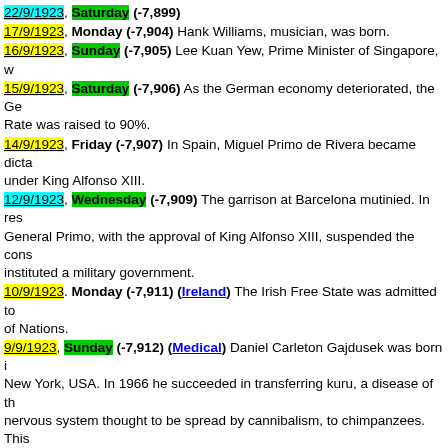22/9/1923, Saturday (-7,899)
17/9/1923, Monday (-7,904) Hank Williams, musician, was born.
16/9/1923, Sunday (-7,905) Lee Kuan Yew, Prime Minister of Singapore, w
15/9/1923, Saturday (-7,906) As the German economy deteriorated, the Ge... Rate was raised to 90%.
14/9/1923, Friday (-7,907) In Spain, Miguel Primo de Rivera became dicta... under King Alfonso XIII.
12/9/1923, Wednesday (-7,909) The garrison at Barcelona mutinied. In res... General Primo, with the approval of King Alfonso XIII, suspended the cons... instituted a military government.
10/9/1923. Monday (-7,911) (Ireland) The Irish Free State was admitted to... of Nations.
9/9/1923, Sunday (-7,912) (Medical) Daniel Carleton Gajdusek was born ... New York, USA. In 1966 he succeeded in transferring kuru, a disease of th... nervous system thought to be spread by cannibalism, to chimpanzees. This... time a viral disease of the central nervous system had been transferred from... another species.
8/9/1923, Saturday (-7,913)
6/9/1923, Thursday (-7,915) King Peter of Yugoslavia was born.
5/9/1923, Wednesday (-7,916) (Aviation) Sadi Lecointe, France, set a new... altitude record of 35,242 feet.
4/9/1923. Tuesday (-7,917) Birth of Birmingham politician Lord Howell, B... first Minister for Sport.
3/9/1923, Monday (-7,918) The US recognised the Mexican government.
2/9/1923, Sunday (-7,919) Hitler fiercely denounced the Weimar Republic
1/9/1923. Saturday (-7,920) (Earthquake, Japan) An earthquake magni